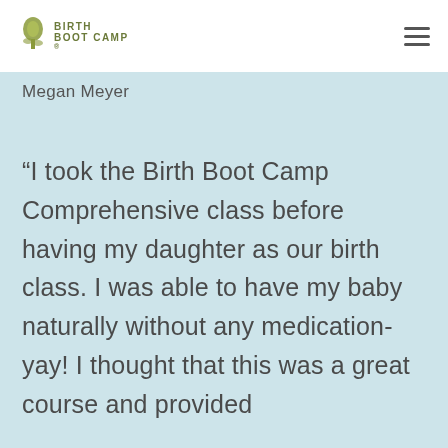Birth Boot Camp
Megan Meyer
“I took the Birth Boot Camp Comprehensive class before having my daughter as our birth class. I was able to have my baby naturally without any medication-yay! I thought that this was a great course and provided